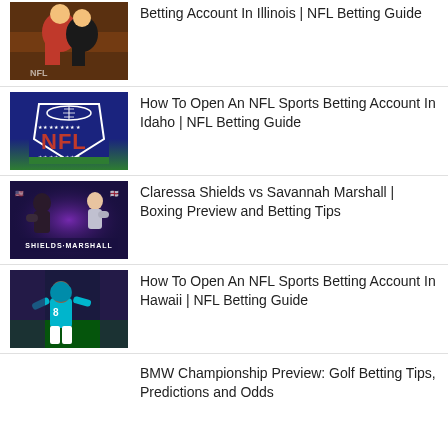Betting Account In Illinois | NFL Betting Guide
How To Open An NFL Sports Betting Account In Idaho | NFL Betting Guide
Claressa Shields vs Savannah Marshall | Boxing Preview and Betting Tips
How To Open An NFL Sports Betting Account In Hawaii | NFL Betting Guide
BMW Championship Preview: Golf Betting Tips, Predictions and Odds